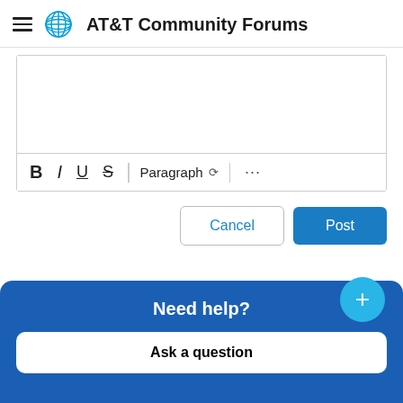AT&T Community Forums
[Figure (screenshot): Rich text editor area with blank content area and toolbar showing Bold, Italic, Underline, Strikethrough, Paragraph dropdown, and more options (...)]
Cancel  Post
Need help?
Ask a question